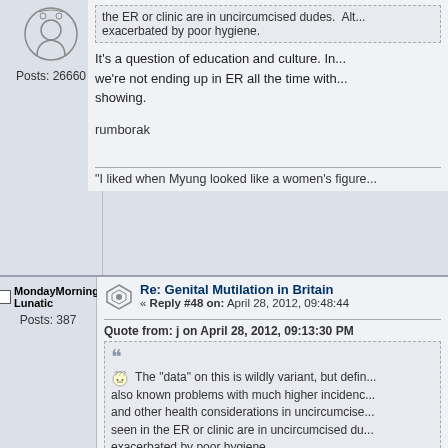Posts: 26660
the ER or clinic are in uncircumcised dudes. All... exacerbated by poor hygiene.
It's a question of education and culture. In... we're not ending up in ER all the time with... showing.
rumborak
"I liked when Myung looked like a women's figure...
MondayMorningLunatic
Posts: 387
Re: Genital Mutilation in Britain
« Reply #48 on: April 28, 2012, 09:48:44
Quote from: j on April 28, 2012, 09:13:30 PM
The "data" on this is wildly variant, but defin... also known problems with much higher incidenc... and other health considerations in uncircumcise... seen in the ER or clinic are in uncircumcised du... exacerbated by poor hygiene.